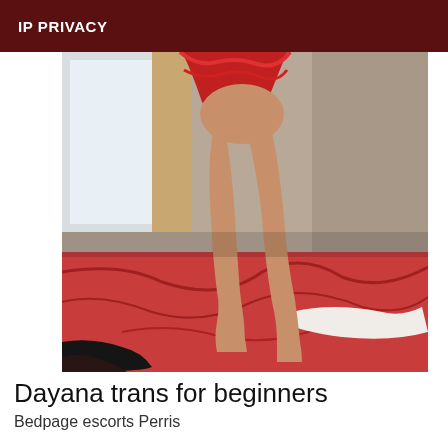IP PRIVACY
[Figure (photo): A person kneeling on a bed with red bedding, wearing a red outfit, photographed from behind in a bedroom setting.]
Dayana trans for beginners
Bedpage escorts Perris